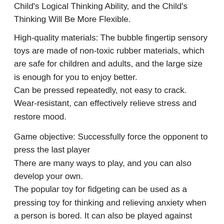Child's Logical Thinking Ability, and the Child's Thinking Will Be More Flexible.
High-quality materials: The bubble fingertip sensory toys are made of non-toxic rubber materials, which are safe for children and adults, and the large size is enough for you to enjoy better.
Can be pressed repeatedly, not easy to crack. Wear-resistant, can effectively relieve stress and restore mood.
Game objective: Successfully force the opponent to press the last player
There are many ways to play, and you can also develop your own.
The popular toy for fidgeting can be used as a pressing toy for thinking and relieving anxiety when a person is bored. It can also be played against friends to see who presses the last bubble and loses. The game restarts, fight with friends to